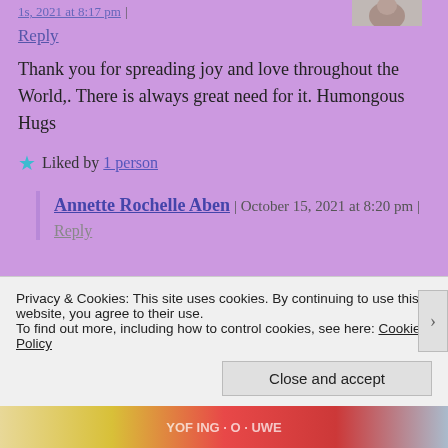Reply
Thank you for spreading joy and love throughout the World,. There is always great need for it. Humongous Hugs
Liked by 1 person
Annette Rochelle Aben | October 15, 2021 at 8:20 pm |
Reply
Privacy & Cookies: This site uses cookies. By continuing to use this website, you agree to their use. To find out more, including how to control cookies, see here: Cookie Policy
Close and accept